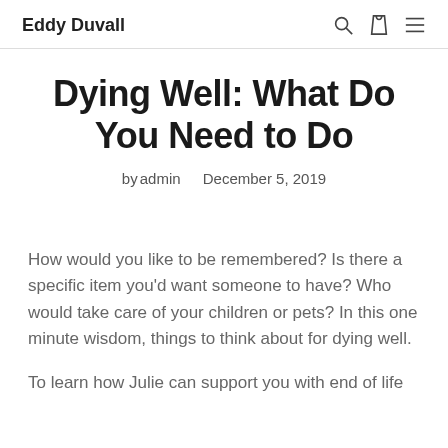Eddy Duvall
Dying Well: What Do You Need to Do
by admin   December 5, 2019
How would you like to be remembered? Is there a specific item you'd want someone to have? Who would take care of your children or pets? In this one minute wisdom, things to think about for dying well.
To learn how Julie can support you with end of life